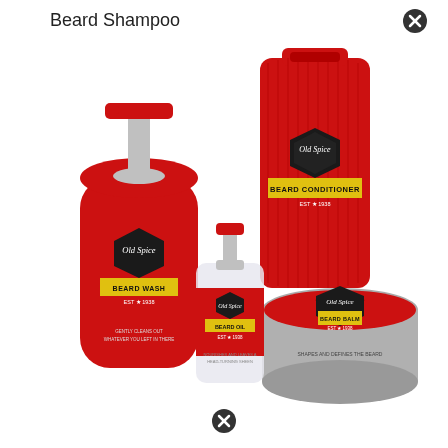Beard Shampoo
[Figure (photo): Old Spice beard care product set showing four red products: Beard Wash (pump bottle), Beard Oil (small dropper bottle), Beard Conditioner (tube), and Beard Balm (round tin). All products feature the Old Spice logo with black badge labels on red packaging.]
[Figure (other): Close/dismiss button (X icon) at bottom of page]